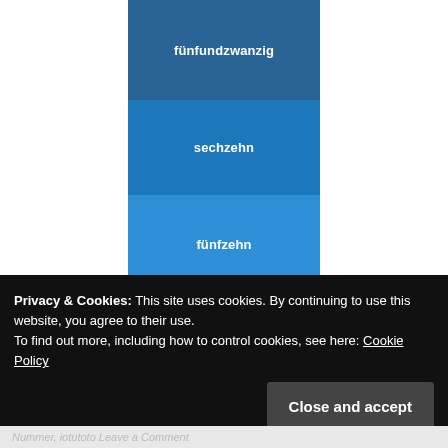[Figure (bar-chart): German Number Whizz]
German Number Whizz
Privacy & Cookies: This site uses cookies. By continuing to use this website, you agree to their use.
To find out more, including how to control cookies, see here: Cookie Policy
Close and accept
Nummer, iotutoto Leave a Comment